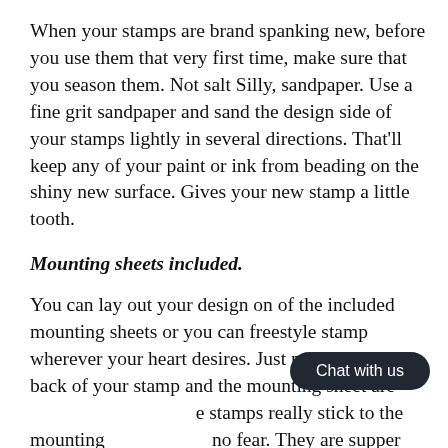When your stamps are brand spanking new, before you use them that very first time, make sure that you season them. Not salt Silly, sandpaper. Use a fine grit sandpaper and sand the design side of your stamps lightly in several directions. That'll keep any of your paint or ink from beading on the shiny new surface. Gives your new stamp a little tooth.
Mounting sheets included.
You can lay out your design on of the included mounting sheets or you can freestyle stamp wherever your heart desires. Just make sure the back of your stamp and the mounting sheet are [Chat with us] e stamps really stick to the mounting [obscured] no fear. They are supper durable. Just tug them off and